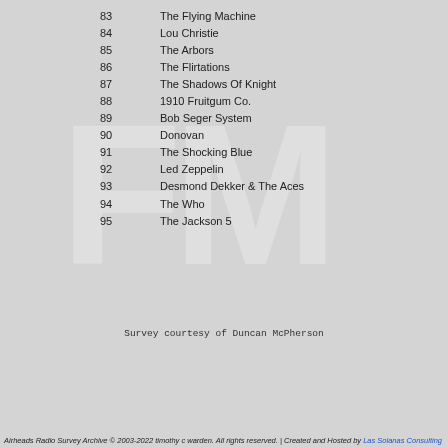83   The Flying Machine
84   Lou Christie
85   The Arbors
86   The Flirtations
87   The Shadows Of Knight
88   1910 Fruitgum Co.
89   Bob Seger System
90   Donovan
91   The Shocking Blue
92   Led Zeppelin
93   Desmond Dekker & The Aces
94   The Who
95   The Jackson 5
Survey courtesy of Duncan McPherson
Show Survey
Airheads Radio Survey Archive © 2003-2022 timothy c warden. All rights reserved. | Created and Hosted by Las Solanas Consulting